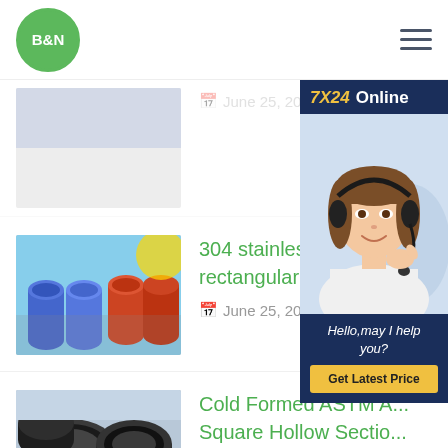B&N
[Figure (screenshot): Website screenshot showing a B&N steel products company page with logo, hamburger menu, article listings with steel pipe images, and a 7X24 Online chat widget sidebar]
— June 25, 2021
304 stainless steel pip... rectangular steel pipe...
June 25, 2021
Cold Formed ASTM A... Square Hollow Sectio...
June 25, 2021
thermal performance of heat sinks with heat pipes or
June 25, 2021